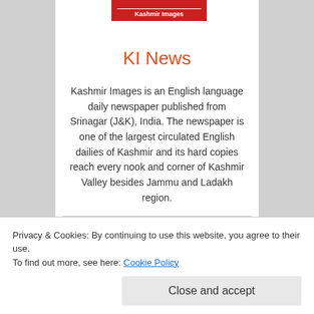[Figure (logo): Kashmir Images logo — red box with white text 'Kashmir Images']
KI News
Kashmir Images is an English language daily newspaper published from Srinagar (J&K), India. The newspaper is one of the largest circulated English dailies of Kashmir and its hard copies reach every nook and corner of Kashmir Valley besides Jammu and Ladakh region.
[Figure (illustration): Social media icons: Facebook and Twitter]
Privacy & Cookies: By continuing to use this website, you agree to their use.
To find out more, see here: Cookie Policy
Close and accept